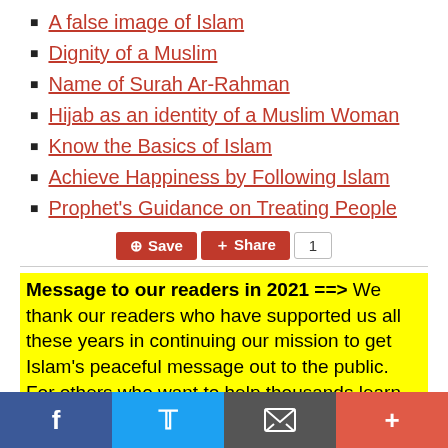A false image of Islam
Dignity of a Muslim
Name of Surah Ar-Rahman
Hijab as an identity of a Muslim Woman
Know the Basics of Islam
Achieve Happiness by Following Islam
Prophet's Guidance on Treating People
Message to our readers in 2021 ==> We thank our readers who have supported us all these years in continuing our mission to get Islam's peaceful message out to the public. For others who want to help thousands learn about Islam from IqraSense.com, you can support the delivery of such
f | Twitter | email | +